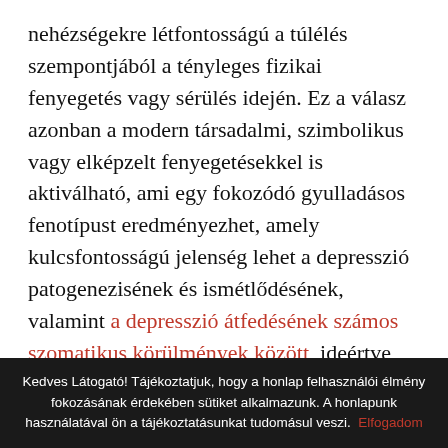nehézségekre létfontosságú a túlélés szempontjából a tényleges fizikai fenyegetés vagy sérülés idején. Ez a válasz azonban a modern társadalmi, szimbolikus vagy elképzelt fenyegetésekkel is aktiválható, ami egy fokozódó gyulladásos fenotípust eredményezhet, amely kulcsfontosságú jelenség lehet a depresszió patogenezisének és ismétlődésének, valamint a depresszió átfedésének számos szomatikus körülmények között, ideértve asztma, reumás ízületi gyulladás, krónikus fájdalom, metabolikus szindróma, szív- és érrendszeri betegségek, elhízás és neurodegeneráció.
Kedves Látogató! Tájékoztatjuk, hogy a honlap felhasználói élmény fokozásának érdekében sütiket alkalmazunk. A honlapunk használatával ön a tájékoztatásunkat tudomásul veszi. Elfogadom